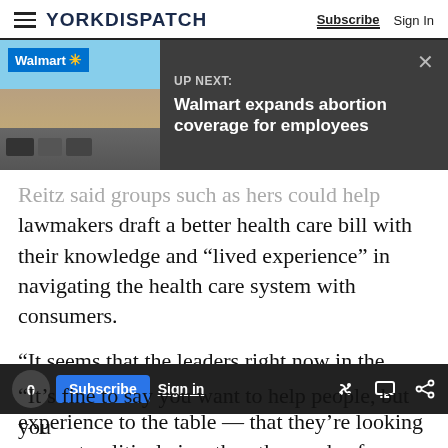YORK DISPATCH — Subscribe  Sign In
[Figure (screenshot): Walmart store advertisement banner with UP NEXT label and headline: Walmart expands abortion coverage for employees]
Reitz said groups such as hers could help lawmakers draft a better health care bill with their knowledge and “lived experience” in navigating the health care system with consumers.
“It seems that the leaders right now in the Senate and the House do not bring that lived experience to the table — that they’re looking more at political aims than the needs of constituents,”
“It’s fine to say you want to help people, but you